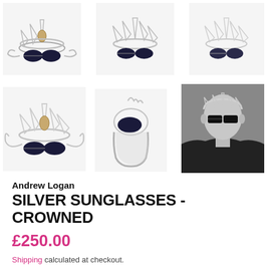[Figure (photo): Six product photos of a silver crown-shaped sunglasses ring by Andrew Logan. Top row: three front-facing views showing a silver filigree crown with dark lens shapes and gold detail. Bottom row: left shows front view with wings spread, center shows side/profile view of the ring band, right shows a black-and-white photo of a person wearing the ring as a crown on their head with sunglasses.]
Andrew Logan
SILVER SUNGLASSES - CROWNED
£250.00
Shipping calculated at checkout.